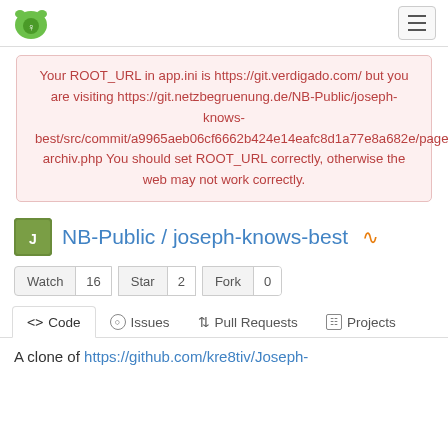Gitea logo and hamburger menu navigation bar
Your ROOT_URL in app.ini is https://git.verdigado.com/ but you are visiting https://git.netzbegruenung.de/NB-Public/joseph-knows-best/src/commit/a9965aeb06cf6662b424e14eafc8d1a77e8a682e/page-archiv.php You should set ROOT_URL correctly, otherwise the web may not work correctly.
NB-Public / joseph-knows-best
Watch 16  Star 2  Fork 0
<> Code  Issues  Pull Requests  Projects
A clone of https://github.com/kre8tiv/Joseph-